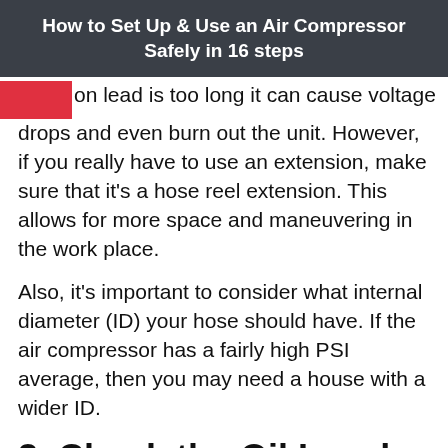How to Set Up & Use an Air Compressor Safely in 16 steps
on lead is too long it can cause voltage drops and even burn out the unit. However, if you really have to use an extension, make sure that it's a hose reel extension. This allows for more space and maneuvering in the work place.
Also, it's important to consider what internal diameter (ID) your hose should have. If the air compressor has a fairly high PSI average, then you may need a house with a wider ID.
3. Check the Oil Level
Next step is to check the air compressor's oil